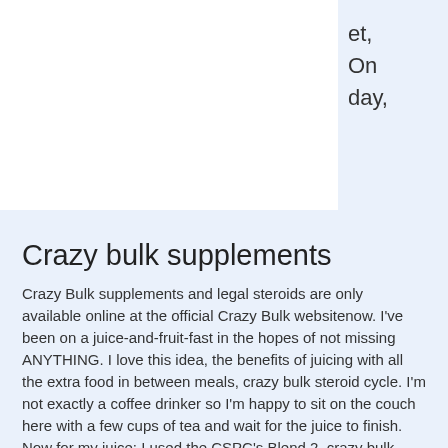et, On day,
Crazy bulk supplements
Crazy Bulk supplements and legal steroids are only available online at the official Crazy Bulk websitenow. I've been on a juice-and-fruit-fast in the hopes of not missing ANYTHING. I love this idea, the benefits of juicing with all the extra food in between meals, crazy bulk steroid cycle. I'm not exactly a coffee drinker so I'm happy to sit on the couch here with a few cups of tea and wait for the juice to finish. Now for my juice: I used the CSPC's Blend 2, crazy bulk supplements.0 , crazy bulk supplements. , crazy bulk supplements. , crazy bulk